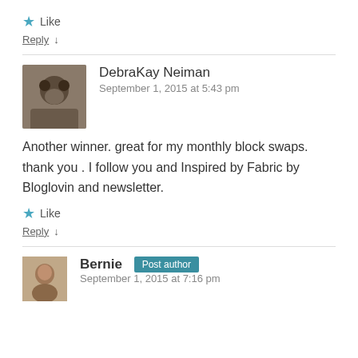★ Like
Reply ↓
DebraKay Neiman
September 1, 2015 at 5:43 pm
Another winner. great for my monthly block swaps. thank you . I follow you and Inspired by Fabric by Bloglovin and newsletter.
★ Like
Reply ↓
Bernie [Post author]
September 1, 2015 at 7:16 pm